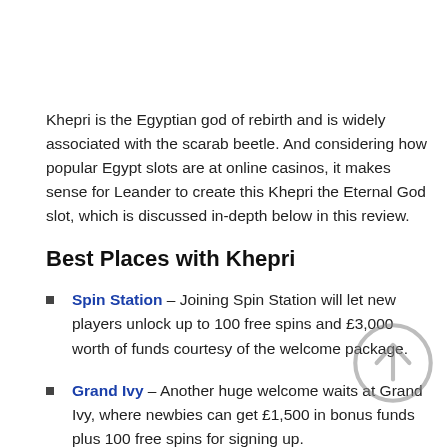Khepri is the Egyptian god of rebirth and is widely associated with the scarab beetle. And considering how popular Egypt slots are at online casinos, it makes sense for Leander to create this Khepri the Eternal God slot, which is discussed in-depth below in this review.
Best Places with Khepri
Spin Station – Joining Spin Station will let new players unlock up to 100 free spins and £3,000 worth of funds courtesy of the welcome package.
Grand Ivy – Another huge welcome waits at Grand Ivy, where newbies can get £1,500 in bonus funds plus 100 free spins for signing up.